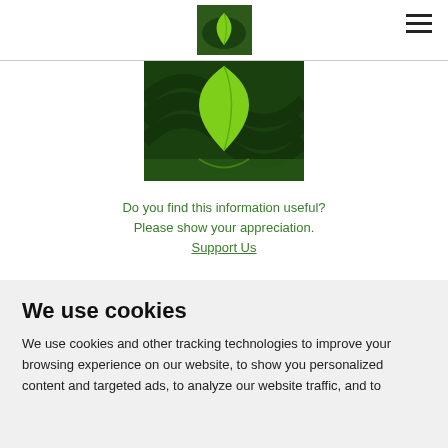[Logo: green leaf icon]
[Figure (photo): Close-up photo of a bright green leaf with dark green background, with a subtle reflection at the bottom]
Do you find this information useful?
Please show your appreciation.
Support Us
We use cookies
We use cookies and other tracking technologies to improve your browsing experience on our website, to show you personalized content and targeted ads, to analyze our website traffic, and to